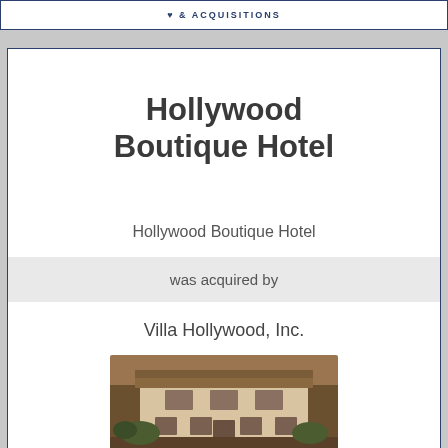& ACQUISITIONS
Hollywood Boutique Hotel
Hollywood Boutique Hotel
was acquired by
Villa Hollywood, Inc.
[Figure (photo): Sepia-toned photograph of the Hollywood Boutique Hotel building exterior, showing a white Mediterranean-style structure with tiled roof and windows]